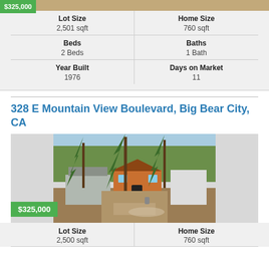[Figure (photo): Partial photo of first property at top of page]
| Lot Size | Home Size |
| --- | --- |
| 2,501 sqft | 760 sqft |
| Beds | Baths |
| --- | --- |
| 2 Beds | 1 Bath |
| Year Built | Days on Market |
| --- | --- |
| 1976 | 11 |
328 E Mountain View Boulevard, Big Bear City, CA
[Figure (photo): Photo of house at 328 E Mountain View Boulevard, Big Bear City, CA - showing orange cabin-style home among pine trees with wet driveway. Price badge: $325,000]
| Lot Size | Home Size |
| --- | --- |
| 2,500 sqft | 760 sqft |